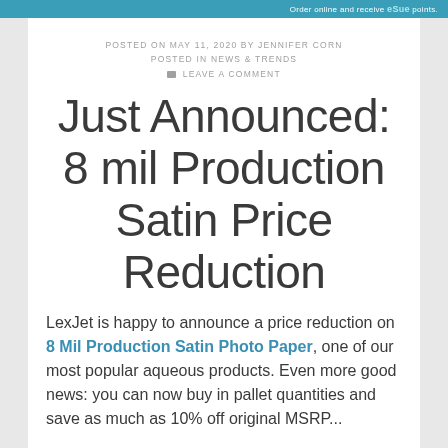Order online and receive eSue points.
POSTED ON MAY 11, 2020 BY JENNIFER CORN
POSTED IN NEWS & TRENDS
💬 LEAVE A COMMENT
Just Announced: 8 mil Production Satin Price Reduction
LexJet is happy to announce a price reduction on 8 Mil Production Satin Photo Paper, one of our most popular aqueous products. Even more good news: you can now buy in pallet quantities and save as much as 10% off original MSRP...